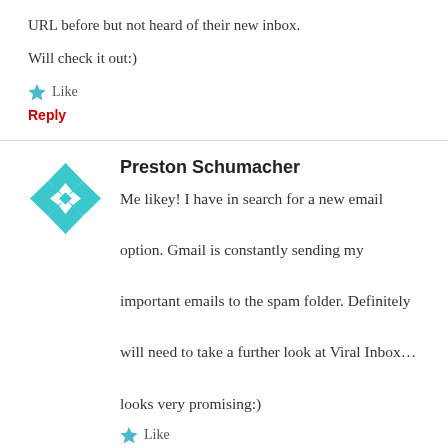URL before but not heard of their new inbox.
Will check it out:)
★ Like
Reply
Preston Schumacher
Me likey! I have in search for a new email option. Gmail is constantly sending my important emails to the spam folder. Definitely will need to take a further look at Viral Inbox… looks very promising:)
★ Like